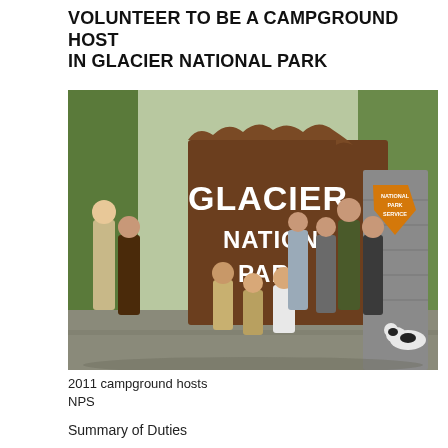VOLUNTEER TO BE A CAMPGROUND HOST IN GLACIER NATIONAL PARK
[Figure (photo): Group photo of 2011 campground hosts standing in front of the Glacier National Park entrance sign, with the National Park Service arrowhead sign visible on a stone pillar to the right. The group includes approximately 10 people in various NPS and casual attire, with a black and white dog at far right.]
2011 campground hosts
NPS
Summary of Duties